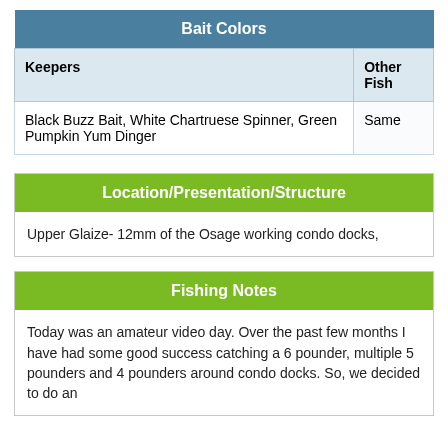| Bait Colors |  |
| --- | --- |
| Keepers | Other Fish |
| Black Buzz Bait, White Chartruese Spinner, Green Pumpkin Yum Dinger | Same |
Location/Presentation/Structure
Upper Glaize- 12mm of the Osage working condo docks,
Fishing Notes
Today was an amateur video day. Over the past few months I have had some good success catching a 6 pounder, multiple 5 pounders and 4 pounders around condo docks. So, we decided to do an